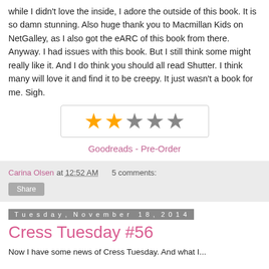while I didn't love the inside, I adore the outside of this book. It is so damn stunning. Also huge thank you to Macmillan Kids on NetGalley, as I also got the eARC of this book from there. Anyway. I had issues with this book. But I still think some might really like it. And I do think you should all read Shutter. I think many will love it and find it to be creepy. It just wasn't a book for me. Sigh.
[Figure (other): Star rating: 2 out of 5 stars — two gold stars and three gray stars displayed in a bordered box]
Goodreads - Pre-Order
Carina Olsen at 12:52 AM   5 comments:
Share
Tuesday, November 18, 2014
Cress Tuesday #56
Now I have some news of Cress Tuesday. And what I...